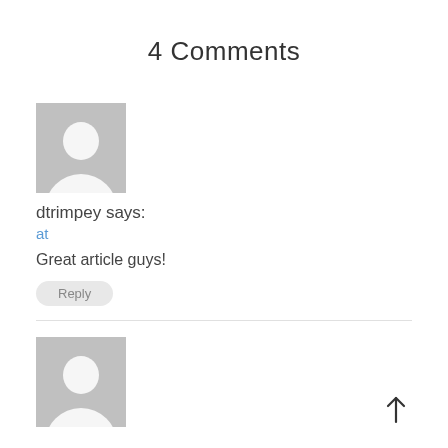4 Comments
[Figure (illustration): Default user avatar placeholder — grey square with white silhouette of a person (head and shoulders), first comment]
dtrimpey says:
at
Great article guys!
Reply
[Figure (illustration): Default user avatar placeholder — grey square with white silhouette of a person (head and shoulders), second comment]